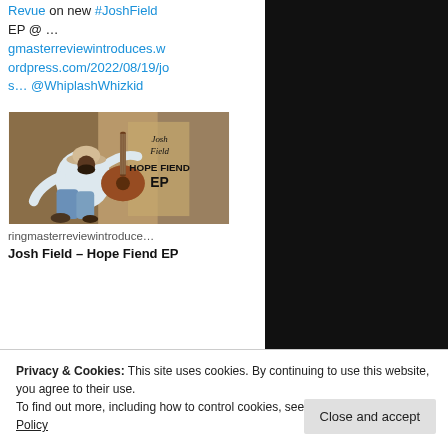Revue on new #JoshField EP @ … gmasterreviewintroduces.wordpress.com/2022/08/19/jos… @WhiplashWhizkid
[Figure (photo): Album cover for Josh Field Hope Fiend EP showing a man sitting and playing acoustic guitar with text 'Josh Field HOPE FIEND EP']
ringmasterreviewintroduce…
Josh Field – Hope Fiend EP
Privacy & Cookies: This site uses cookies. By continuing to use this website, you agree to their use.
To find out more, including how to control cookies, see here: Our Cookie Policy
Close and accept
more striking and incredible...